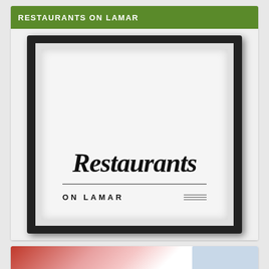RESTAURANTS ON LAMAR
[Figure (logo): Restaurants on Lamar logo inside a black picture frame. Script font reads 'Restaurants' with 'ON LAMAR' in uppercase sans-serif below, separated by decorative lines.]
[Figure (photo): Partial image showing a red/pink background with text 'The Professional Cowboy's Choice' at the bottom.]
The Professional Cowboy's Choice